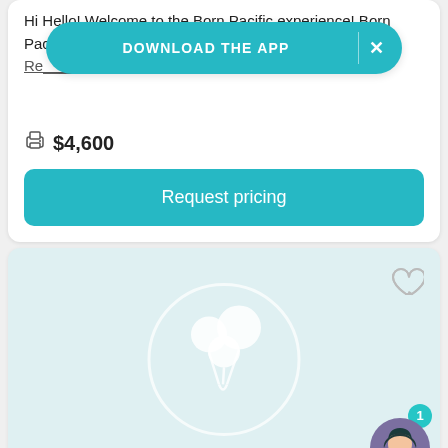Hi Hello! Welcome to the Born Pacific experience! Born Pacific is... [text partially obscured] ...of the Pacific... [underlined link]
[Figure (screenshot): Download the App banner overlay in teal/cyan color with white text 'DOWNLOAD THE APP' and an X close button]
$4,600
Request pricing
[Figure (illustration): Light blue/teal card with a white circular logo featuring balloon-like icon in the center, a heart outline icon in top right, and a chat avatar widget in the bottom right with notification badge showing '1']